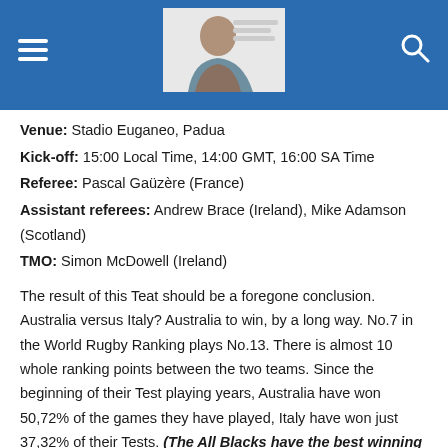Header with hamburger menu, logo/image, and search icon
Venue: Stadio Euganeo, Padua
Kick-off: 15:00 Local Time, 14:00 GMT, 16:00 SA Time
Referee: Pascal Gaüzère (France)
Assistant referees: Andrew Brace (Ireland), Mike Adamson (Scotland)
TMO: Simon McDowell (Ireland)
The result of this Teat should be a foregone conclusion. Australia versus Italy? Australia to win, by a long way. No.7 in the World Rugby Ranking plays No.13. There is almost 10 whole ranking points between the two teams. Since the beginning of their Test playing years, Australia have won 50,72% of the games they have played, Italy have won just 37,32% of their Tests. (The All Blacks have the best winning ratio in history, with 77.54% with South Africa second...